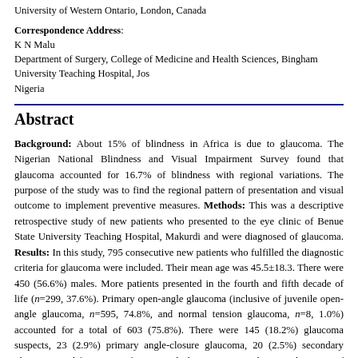University of Western Ontario, London, Canada
Correspondence Address:
K N Malu
Department of Surgery, College of Medicine and Health Sciences, Bingham University Teaching Hospital, Jos
Nigeria
Abstract
Background: About 15% of blindness in Africa is due to glaucoma. The Nigerian National Blindness and Visual Impairment Survey found that glaucoma accounted for 16.7% of blindness with regional variations. The purpose of the study was to find the regional pattern of presentation and visual outcome to implement preventive measures. Methods: This was a descriptive retrospective study of new patients who presented to the eye clinic of Benue State University Teaching Hospital, Makurdi and were diagnosed of glaucoma. Results: In this study, 795 consecutive new patients who fulfilled the diagnostic criteria for glaucoma were included. Their mean age was 45.5±18.3. There were 450 (56.6%) males. More patients presented in the fourth and fifth decade of life (n=299, 37.6%). Primary open-angle glaucoma (inclusive of juvenile open-angle glaucoma, n=595, 74.8%, and normal tension glaucoma, n=8, 1.0%) accounted for a total of 603 (75.8%). There were 145 (18.2%) glaucoma suspects, 23 (2.9%) primary angle-closure glaucoma, 20 (2.5%) secondary glaucoma, and four cases of congenital glaucoma. Vertical cup-to-disc ratio of ≥0.9 was in 634 (39.9%) of eyes; 274 (34.4%) were bilateral, and were all considered to have severe, advanced or end-stage glaucoma. About 203